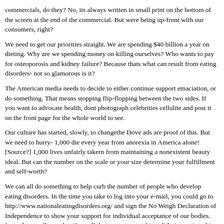commercials, do they? No, its always written in small print on the bottom of the screen at the end of the commercial. But were being up-front with our consumers, right?
We need to get our priorities straight. We are spending $40 billion a year on dieting. Why are we spending money on killing ourselves? Who wants to pay for osteoporosis and kidney failure? Because thats what can result from eating disorders- not so glamorous is it?
The American media needs to decide to either continue support emaciation, or do something. That means stopping flip-flopping between the two sides. If you want to advocate health, then dont photograph celebrities cellulite and post it on the front page for the whole world to see.
Our culture has started, slowly, to changethe Dove ads are proof of this. But we need to hurry- 1,000 die every year from anorexia in America alone! [Source?] 1,000 lives unfairly taken to the cause of maintaining a nonexistent beauty ideal. But can the number on the scale or your size determine your fulfillment and self-worth?
We can all do something to help curb the number of people who develop eating disorders. In the time you take to log into your e-mail, you could go to http://www.nationaleatingdisorders.org/ and sign the No Weigh Declaration of Independence to show your support for individual acceptance of our bodies. Its such a small step, but if we all do it, we can stand in solidarity against this horrible disease. So instead of focusing on the dreaded Freshman 15, just be healthy.
I dont know about you, but next time the Trimspa commercial comes on, Im turning it off so I can enjoy my bowl of cookie dough ice cream in peace!